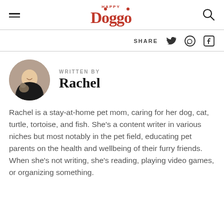Happy Doggo
SHARE
[Figure (photo): Author photo of Rachel holding a small dog, circular crop]
WRITTEN BY
Rachel
Rachel is a stay-at-home pet mom, caring for her dog, cat, turtle, tortoise, and fish. She's a content writer in various niches but most notably in the pet field, educating pet parents on the health and wellbeing of their furry friends. When she's not writing, she's reading, playing video games, or organizing something.